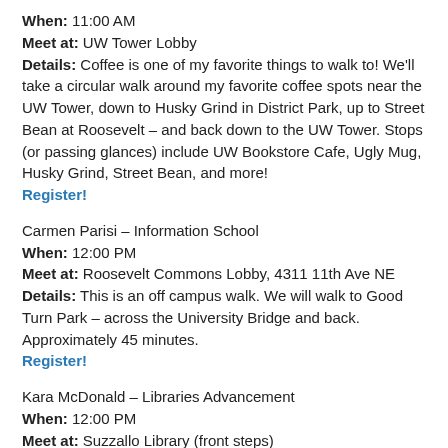When: 11:00 AM
Meet at: UW Tower Lobby
Details: Coffee is one of my favorite things to walk to! We'll take a circular walk around my favorite coffee spots near the UW Tower, down to Husky Grind in District Park, up to Street Bean at Roosevelt – and back down to the UW Tower. Stops (or passing glances) include UW Bookstore Cafe, Ugly Mug, Husky Grind, Street Bean, and more!
Register!
Carmen Parisi – Information School
When: 12:00 PM
Meet at: Roosevelt Commons Lobby, 4311 11th Ave NE
Details: This is an off campus walk. We will walk to Good Turn Park – across the University Bridge and back. Approximately 45 minutes.
Register!
Kara McDonald – Libraries Advancement
When: 12:00 PM
Meet at: Suzzallo Library (front steps)
Register!